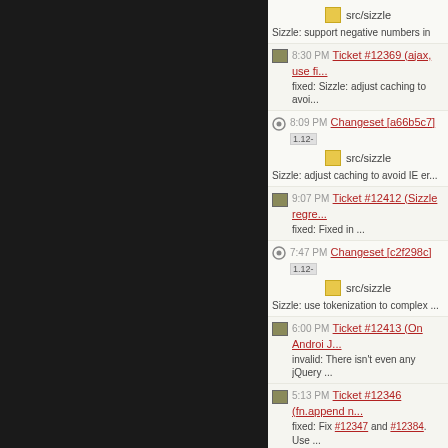[Figure (screenshot): Dark left panel of a web application UI]
src/sizzle - Sizzle: support negative numbers in
8:30 PM Ticket #12369 (ajax, use fi... fixed: Sizzle: adjust caching to avoi...
8:09 PM Changeset [a66b5c7] 1.12- src/sizzle - Sizzle: adjust caching to avoid IE er...
9:07 PM Ticket #12412 (Sizzle regre... fixed: Fixed in ...
7:47 PM Changeset [c2f298c] 1.12- src/sizzle - Sizzle: use tokenization to complex ...
6:00 PM Ticket #12413 (On Androi J... invalid: There isn't even any jQuery ...
5:13 PM Ticket #12346 (fn.append n... fixed: Fix #12347 and #12384. Use ...
5:13 PM Ticket #12347 (Proposed m... wontfix: NO NO NO!
5:12 PM Ticket #12347 (Proposed m...
5:11 PM Ticket #12384 (.after fails w... fixed: Fix #12347 and #12384. Use ...
5:02 PM Changeset [b6a7d02] 1.12- src/manipulation.js